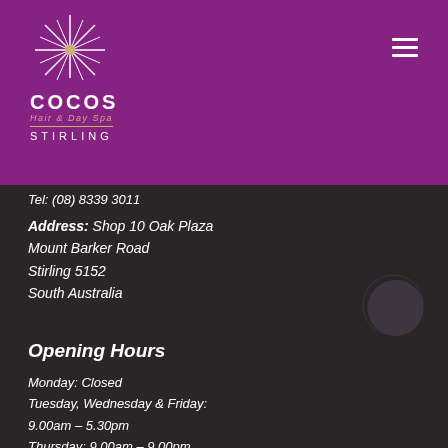[Figure (logo): Cocos Hair & Day Spa Stirling logo with star graphic on purple background]
Tel: (08) 8339 3011
Address: Shop 10 Oak Plaza
Mount Barker Road
Stirling 5152
South Australia
Opening Hours
Monday: Closed
Tuesday, Wednesday & Friday:
9.00am – 5.30pm
Thursday: 9.00am – 9.00pm
Saturday: 8.30am – 5.00pm